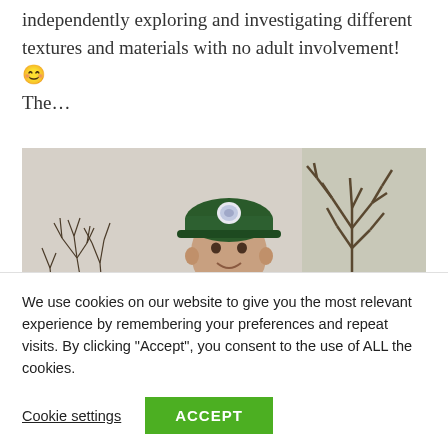independently exploring and investigating different textures and materials with no adult involvement! 😊 The…
[Figure (photo): A young boy wearing a green police/officer helmet with a badge, smiling at the camera. He is outdoors with bare winter shrubs and a tree visible in the background, wearing a high-visibility vest.]
We use cookies on our website to give you the most relevant experience by remembering your preferences and repeat visits. By clicking "Accept", you consent to the use of ALL the cookies.
Cookie settings   ACCEPT